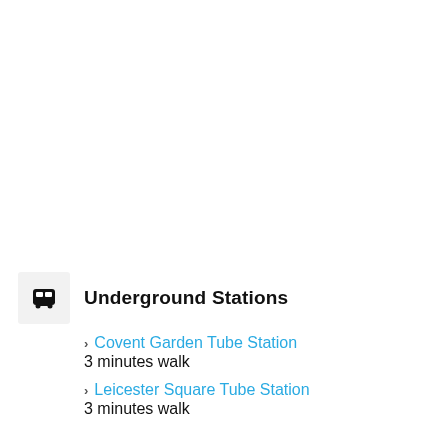Underground Stations
Covent Garden Tube Station
3 minutes walk
Leicester Square Tube Station
3 minutes walk